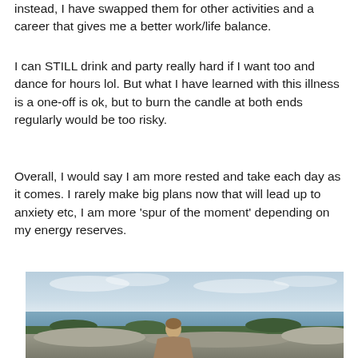instead, I have swapped them for other activities and a career that gives me a better work/life balance.
I can STILL drink and party really hard if I want too and dance for hours lol. But what I have learned with this illness is a one-off is ok, but to burn the candle at both ends regularly would be too risky.
Overall, I would say I am more rested and take each day as it comes. I rarely make big plans now that will lead up to anxiety etc, I am more ‘spur of the moment’ depending on my energy reserves.
[Figure (photo): Outdoor photo of a person sitting on rocky terrain near a body of water, with a cloudy sky in the background and some vegetation visible.]